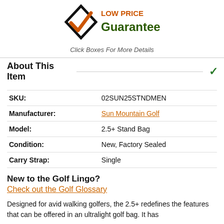[Figure (logo): Low Price Guarantee logo with orange checkmark inside black diamond shape and green/orange text]
Click Boxes For More Details
About This Item
| SKU: | 02SUN25STNDMEN |
| Manufacturer: | Sun Mountain Golf |
| Model: | 2.5+ Stand Bag |
| Condition: | New, Factory Sealed |
| Carry Strap: | Single |
New to the Golf Lingo?
Check out the Golf Glossary
Designed for avid walking golfers, the 2.5+ redefines the features that can be offered in an ultralight golf bag. It has